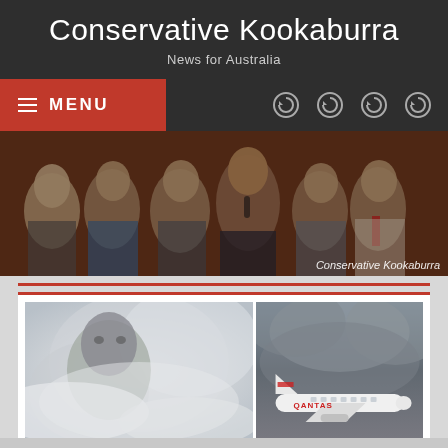Conservative Kookaburra
News for Australia
MENU
[Figure (photo): Header banner collage showing multiple conservative political figures and commentators against a brick wall background, with 'Conservative Kookaburra' watermark]
[Figure (photo): Article thumbnail split image: left side shows a male figure's face partially obscured by mist/clouds; right side shows a Qantas airplane against stormy skies]